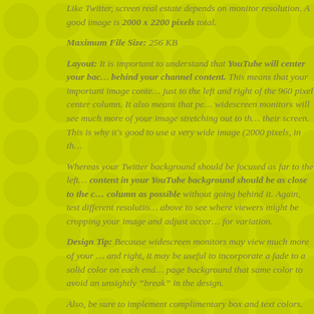Like Twitter, screen real estate depends on monitor resolution. A good image is 2000 x 2200 pixels total.
Maximum File Size: 256 KB
Layout: It is important to understand that YouTube will center your background behind your channel content. This means that your important image content should be just to the left and right of the 960 pixel center column. It also means that people with widescreen monitors will see much more of your image stretching out to the sides of their screen. This is why it's good to use a very wide image (2000 pixels, in th...
Whereas your Twitter background should be focused as far to the left... content in your YouTube background should be as close to the center column as possible without going behind it. Again, test different resolutions above to see where viewers might be cropping your image and adjust accordingly for variation.
Design Tip: Because widescreen monitors may view much more of your image left and right, it may be useful to incorporate a fade to a solid color on each end... page background that same color to avoid an unsightly “break” in the design.
Also, be sure to implement complimentary box and text colors.
How To Add It:
[Figure (screenshot): Screenshot thumbnail placeholder image]